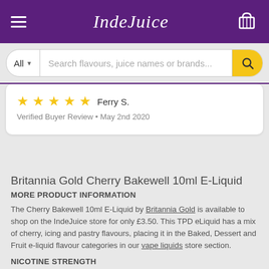IndeJuice
★★★★★ Ferry S. — Verified Buyer Review • May 2nd 2020
Britannia Gold Cherry Bakewell 10ml E-Liquid
MORE PRODUCT INFORMATION
The Cherry Bakewell 10ml E-Liquid by Britannia Gold is available to shop on the IndeJuice store for only £3.50. This TPD eLiquid has a mix of cherry, icing and pastry flavours, placing it in the Baked, Dessert and Fruit e-liquid flavour categories in our vape liquids store section.
NICOTINE STRENGTH
The nicotine strength options for this regular 10ml e-liquid